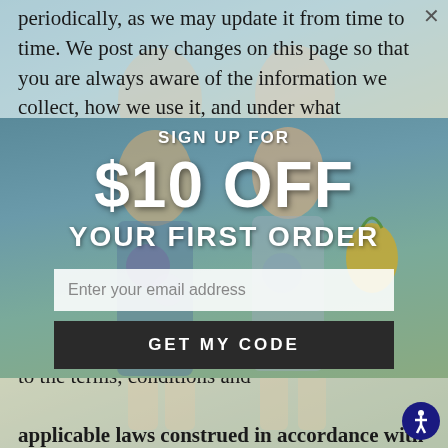periodically, as we may update it from time to time. We post any changes on this page so that you are always aware of the information we collect, how we use it, and under what circumstances we disclose it. By using our web site, you consent to the collection and use of your information by Ocean Drive. Any communication or material sent to you will be considered confidential and will become the property of Ocean Drive, which reserves the right to use and reproduce it for any purpose whatsoever. Access and use of the Site is subject to the terms, conditions and applicable laws construed in accordance with the laws of the State of New Jersey. When you purchase from our site, we collect information
[Figure (photo): Two women wearing tie-dye shirts, one holding a pineapple, posing outdoors near a tropical setting. A promotional popup overlay is visible on top of the image.]
SIGN UP FOR
$10 OFF
YOUR FIRST ORDER
Enter your email address
GET MY CODE